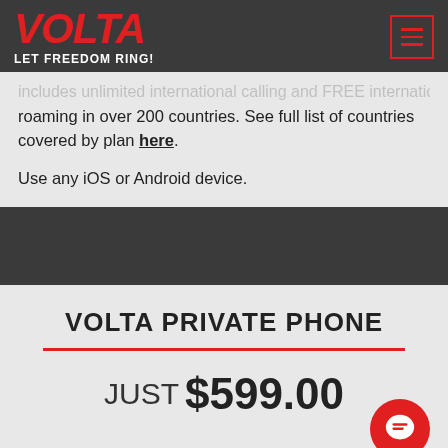VOLTA — LET FREEDOM RING!
...includes unlimited international calling and FREE international roaming in over 200 countries. See full list of countries covered by plan here.
Use any iOS or Android device.
VOLTA PRIVATE PHONE
JUST $599.00